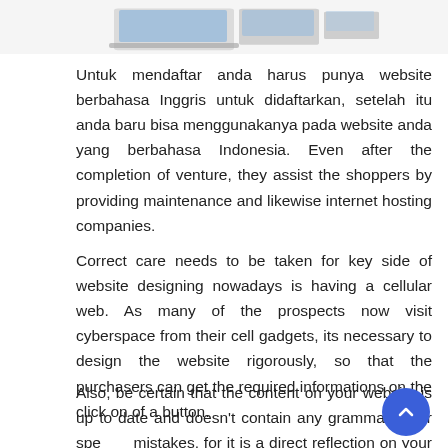[Figure (illustration): Devices illustration showing laptop, tablet, and other screens at top of page]
Untuk mendaftar anda harus punya website berbahasa Inggris untuk didaftarkan, setelah itu anda baru bisa menggunakanya pada website anda yang berbahasa Indonesia. Even after the completion of venture, they assist the shoppers by providing maintenance and likewise internet hosting companies.
Correct care needs to be taken for key side of website designing nowadays is having a cellular web. As many of the prospects now visit cyberspace from their cell gadgets, its necessary to design the website rigorously, so that the purchasers can get the required informations on the click on of a button.
Also, be certain that the content on your website is up to date and doesn’t contain any grammatical or spe mistakes, for it is a direct reflection on your company’s